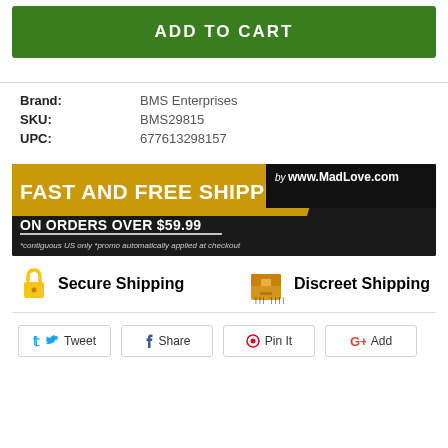ADD TO CART
Brand: BMS Enterprises
SKU: BMS29815
UPC: 677613298157
[Figure (infographic): Fast and Free Shipping on orders over $59.99 banner with gold and dark background. Text: FAST AND FREE SHIPPING, ON ORDERS OVER $59.99, by www.MadLove.com, *contiguous US only *promo automatically applied at checkout]
Secure Shipping
Discreet Shipping
Tweet
Share
Pin It
Add